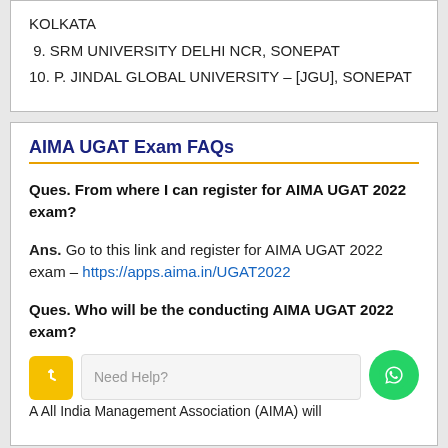KOLKATA
9. SRM UNIVERSITY DELHI NCR, SONEPAT
10. P. JINDAL GLOBAL UNIVERSITY – [JGU], SONEPAT
AIMA UGAT Exam FAQs
Ques. From where I can register for AIMA UGAT 2022 exam?
Ans. Go to this link and register for AIMA UGAT 2022 exam – https://apps.aima.in/UGAT2022
Ques. Who will be the conducting AIMA UGAT 2022 exam?